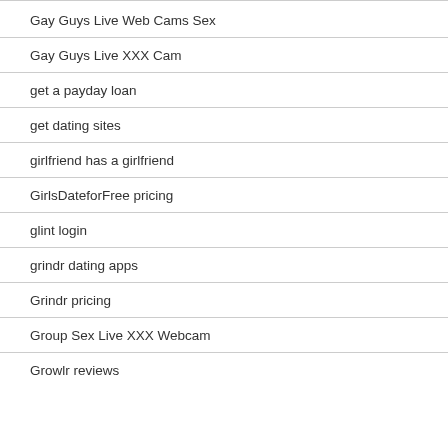Gay Guys Live Web Cams Sex
Gay Guys Live XXX Cam
get a payday loan
get dating sites
girlfriend has a girlfriend
GirlsDateforFree pricing
glint login
grindr dating apps
Grindr pricing
Group Sex Live XXX Webcam
Growlr reviews